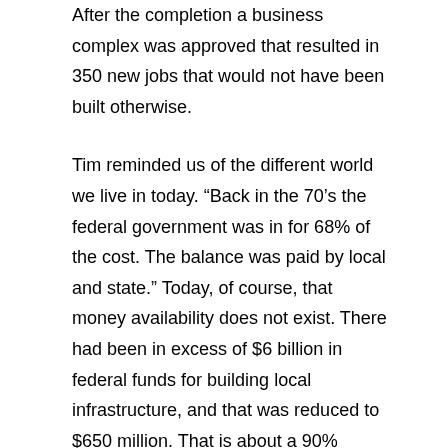After the completion a business complex was approved that resulted in 350 new jobs that would not have been built otherwise.
Tim reminded us of the different world we live in today. “Back in the 70’s the federal government was in for 68% of the cost. The balance was paid by local and state.” Today, of course, that money availability does not exist. There had been in excess of $6 billion in federal funds for building local infrastructure, and that was reduced to $650 million. That is about a 90% reduction. Bishop has a bill that will restore some of the money to the level $2.9 billion. That money will go to clean water resources. That trust fund will need a funding source, perhaps similar to the highway trust fund where new money is constantly refreshed.
Waste water limitations are inhibiting growth on Long Island. Bishop recited a number of locales that cannot build because the sewers in place cannot handle the demand. Southampton